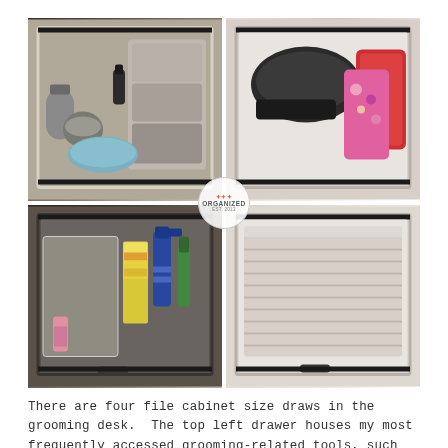[Figure (photo): A 2x2 grid of four photographs showing organized file-cabinet-size drawers in a grooming desk. Top left: drawer with small towels, cotton balls, grooming pillow, and small containers. Top right: drawer with hair tools and colorful bags. Bottom left: drawer with cleaning supplies, spray bottle, brushes, and small boxes. Bottom right: drawer neatly stacked with folded linens/towels. An 'ORGANIZED' logo watermark overlays the center junction of the four photos.]
There are four file cabinet size draws in the grooming desk.  The top left drawer houses my most frequently accessed grooming-related tools, such as small towels, cotton balls, a grooming pillow, and baby wipes among other things (top left photo).  The bottom left drawer is where I store grooming extras, including